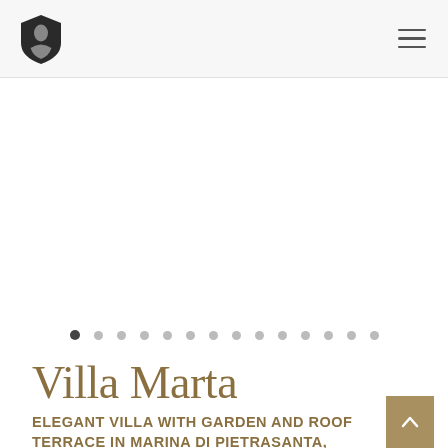Villa Marta – logo and navigation header
[Figure (other): Image slider area (blank/white image area with carousel dots below)]
Villa Marta
ELEGANT VILLA WITH GARDEN AND ROOF TERRACE IN MARINA DI PIETRASANTA,